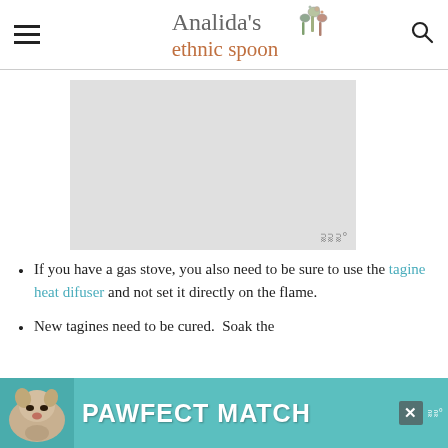Analida's ethnic spoon
[Figure (other): Gray advertisement placeholder box with 'W°' watermark in bottom right corner]
If you have a gas stove, you also need to be sure to use the tagine heat difuser and not set it directly on the flame.
New tagines need to be cured.  Soak the
[Figure (other): Bottom advertisement banner with teal background showing a dog and text 'PAWFECT MATCH' with a close button and W° watermark]